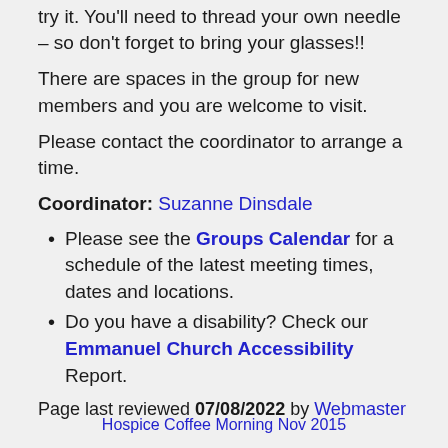try it. You'll need to thread your own needle – so don't forget to bring your glasses!!
There are spaces in the group for new members and you are welcome to visit.
Please contact the coordinator to arrange a time.
Coordinator: Suzanne Dinsdale
Please see the Groups Calendar for a schedule of the latest meeting times, dates and locations.
Do you have a disability? Check our Emmanuel Church Accessibility Report.
Page last reviewed 07/08/2022 by Webmaster
Hospice Coffee Morning Nov 2015